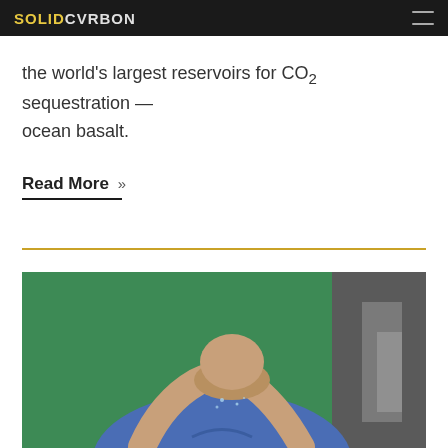SOLIDCARBON
the world's largest reservoirs for CO₂ sequestration — ocean basalt.
Read More »
[Figure (photo): Person drinking water from cupped hands, with a green background and equipment visible on the right side.]